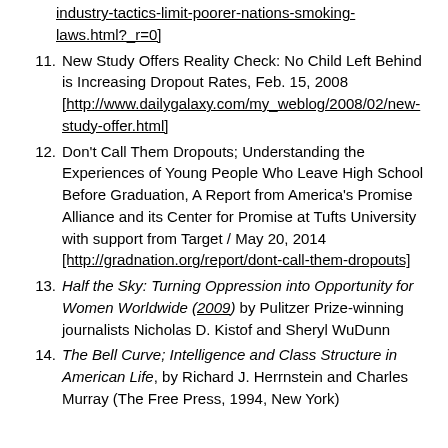[continuation] industry-tactics-limit-poorer-nations-smoking-laws.html?_r=0]
11. New Study Offers Reality Check: No Child Left Behind is Increasing Dropout Rates, Feb. 15, 2008 [http://www.dailygalaxy.com/my_weblog/2008/02/new-study-offer.html]
12. Don't Call Them Dropouts; Understanding the Experiences of Young People Who Leave High School Before Graduation, A Report from America's Promise Alliance and its Center for Promise at Tufts University with support from Target / May 20, 2014 [http://gradnation.org/report/dont-call-them-dropouts]
13. Half the Sky: Turning Oppression into Opportunity for Women Worldwide (2009) by Pulitzer Prize-winning journalists Nicholas D. Kistof and Sheryl WuDunn
14. The Bell Curve; Intelligence and Class Structure in American Life, by Richard J. Herrnstein and Charles Murray (The Free Press, 1994, New York)